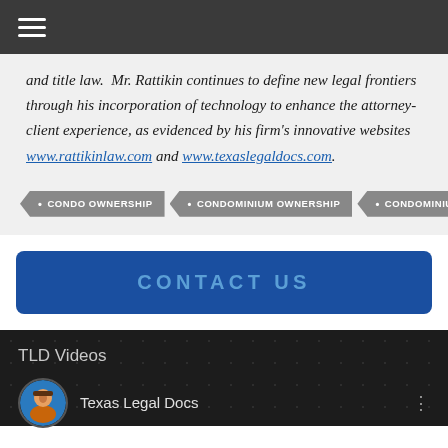Navigation menu (hamburger icon)
and title law.  Mr. Rattikin continues to define new legal frontiers through his incorporation of technology to enhance the attorney-client experience, as evidenced by his firm's innovative websites www.rattikinlaw.com and www.texaslegaldocs.com.
CONDO OWNERSHIP
CONDOMINIUM OWNERSHIP
CONDOMINIUMS
CONTACT US
TLD Videos
Texas Legal Docs